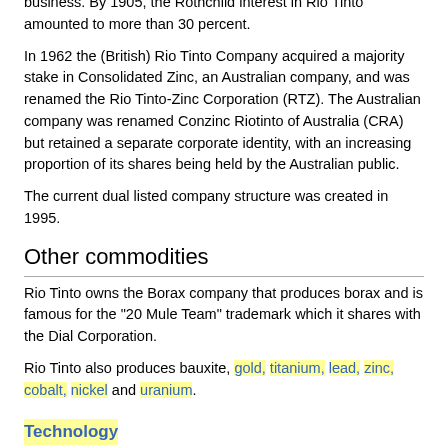business. By 1905, the Rothchild interest in Rio Tinto amounted to more than 30 percent.
In 1962 the (British) Rio Tinto Company acquired a majority stake in Consolidated Zinc, an Australian company, and was renamed the Rio Tinto-Zinc Corporation (RTZ). The Australian company was renamed Conzinc Riotinto of Australia (CRA) but retained a separate corporate identity, with an increasing proportion of its shares being held by the Australian public.
The current dual listed company structure was created in 1995.
Other commodities
Rio Tinto owns the Borax company that produces borax and is famous for the "20 Mule Team" trademark which it shares with the Dial Corporation.
Rio Tinto also produces bauxite, gold, titanium, lead, zinc, cobalt, nickel and uranium.
Technology
The company also has a technology group conducting research and development, notably including the HIsmelt iron smelting process, and an exploration group.
Criticisms
Environmental, political, safety and labour rights concerns have been